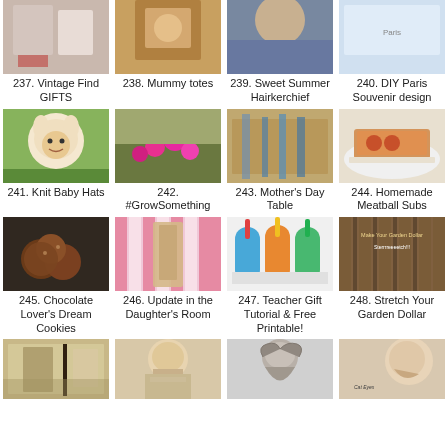[Figure (photo): Partial top of image 237 - Vintage Find GIFTS]
237. Vintage Find GIFTS
[Figure (photo): Partial top of image 238 - Mummy totes]
238. Mummy totes
[Figure (photo): Partial top of image 239 - Sweet Summer Hairkerchief]
239. Sweet Summer Hairkerchief
[Figure (photo): Partial top of image 240 - DIY Paris Souvenir design]
240. DIY Paris Souvenir design
[Figure (photo): Baby with knit hat - 241]
241. Knit Baby Hats
[Figure (photo): Pink flowers in garden - 242]
242. #GrowSomething
[Figure (photo): Table setting with glasses - 243]
243. Mother's Day Table
[Figure (photo): Meatball sub on plate - 244]
244. Homemade Meatball Subs
[Figure (photo): Chocolate cookies - 245]
245. Chocolate Lover's Dream Cookies
[Figure (photo): Pink striped room with mirror - 246]
246. Update in the Daughter's Room
[Figure (photo): Colorful tumblers with straws - 247]
247. Teacher Gift Tutorial & Free Printable!
[Figure (photo): Wooden fence - 248]
248. Stretch Your Garden Dollar
[Figure (photo): Dining room interior - 249]
[Figure (photo): Woman with short blonde hair - 250]
[Figure (photo): Black and white updo hairstyle - 251]
[Figure (photo): Woman with cat eye makeup - 252]